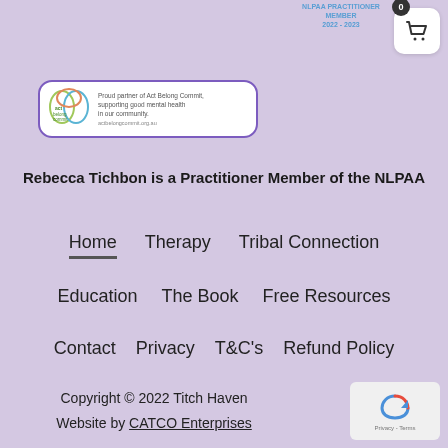[Figure (logo): NLPAA Practitioner Member 2022-2023 circular badge with text around the top and bottom]
[Figure (logo): Shopping basket button with 0 counter badge]
[Figure (logo): Act Belong Commit partner badge with logo and text: Proud partner of Act Belong Commit, supporting good mental health in our community.]
Rebecca Tichbon is a Practitioner Member of the NLPAA
Home
Therapy
Tribal Connection
Education
The Book
Free Resources
Contact
Privacy
T&C's
Refund Policy
Copyright © 2022 Titch Haven
Website by CATCO Enterprises
[Figure (logo): reCAPTCHA / Privacy Terms widget in bottom right corner]